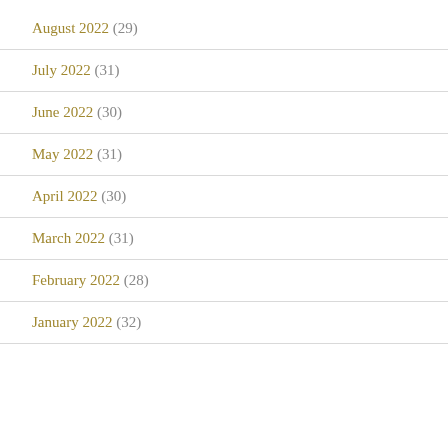August 2022 (29)
July 2022 (31)
June 2022 (30)
May 2022 (31)
April 2022 (30)
March 2022 (31)
February 2022 (28)
January 2022 (32)